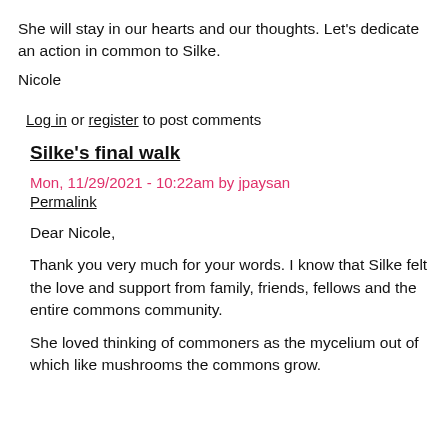She will stay in our hearts and our thoughts. Let's dedicate an action in common to Silke.
Nicole
Log in or register to post comments
Silke's final walk
Mon, 11/29/2021 - 10:22am by jpaysan
Permalink
Dear Nicole,
Thank you very much for your words. I know that Silke felt the love and support from family, friends, fellows and the entire commons community.
She loved thinking of commoners as the mycelium out of which like mushrooms the commons grow.